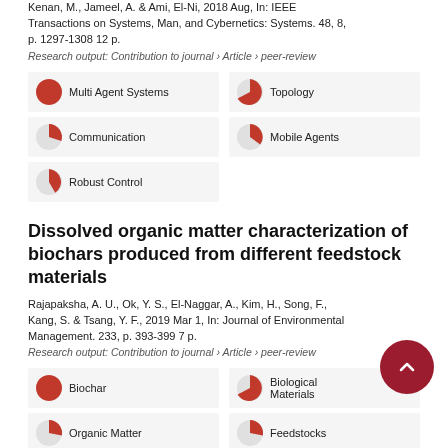Kenan, M., Jameel, A. & Ami, El-Ni, 2018 Aug, In: IEEE Transactions on Systems, Man, and Cybernetics: Systems. 48, 8, p. 1297-1308 12 p.
Research output: Contribution to journal › Article › peer-review
[Figure (infographic): Keyword badges with pie-chart icons: Multi Agent Systems (100%), Topology (65%), Communication (45%), Mobile Agents (35%), Robust Control (22%)]
Dissolved organic matter characterization of biochars produced from different feedstock materials
Rajapaksha, A. U., Ok, Y. S., El-Naggar, A., Kim, H., Song, F., Kang, S. & Tsang, Y. F., 2019 Mar 1, In: Journal of Environmental Management. 233, p. 393-399 7 p.
Research output: Contribution to journal › Article › peer-review
[Figure (infographic): Keyword badges with pie-chart icons: Biochar (100%), Biological Materials (65%), Organic Matter (55%), Feedstocks (55%)]